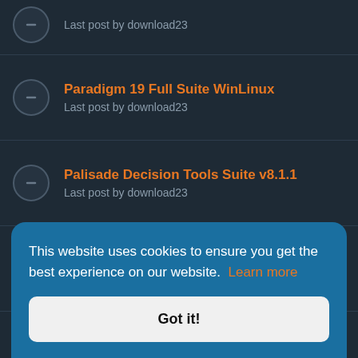Last post by download23
Paradigm 19 Full Suite WinLinux
Last post by download23
Palisade Decision Tools Suite v8.1.1
Last post by download23
Palisade Decision Tools Suite v8.0
Last post by download23
PaleoScan v2020 x64
Last post by download23
This website uses cookies to ensure you get the best experience on our website. Learn more
Got it!